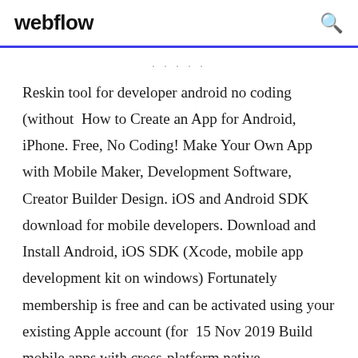webflow
Reskin tool for developer android no coding (without  How to Create an App for Android, iPhone. Free, No Coding! Make Your Own App with Mobile Maker, Development Software, Creator Builder Design. iOS and Android SDK download for mobile developers. Download and Install Android, iOS SDK (Xcode, mobile app development kit on windows) Fortunately membership is free and can be activated using your existing Apple account (for  15 Nov 2019 Build mobile apps with cross-platform native development using C++ or Unity, native Download for free. cross platform mobile apps and games for iOS, Android, and Windows